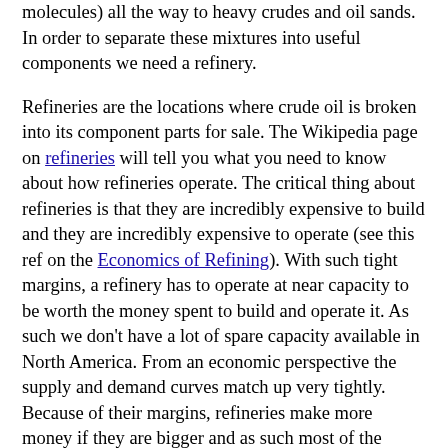(…light ends, ranging from propane and lighter molecules) all the way to heavy crudes and oil sands. In order to separate these mixtures into useful components we need a refinery.
Refineries are the locations where crude oil is broken into its component parts for sale. The Wikipedia page on refineries will tell you what you need to know about how refineries operate. The critical thing about refineries is that they are incredibly expensive to build and they are incredibly expensive to operate (see this ref on the Economics of Refining). With such tight margins, a refinery has to operate at near capacity to be worth the money spent to build and operate it. As such we don't have a lot of spare capacity available in North America. From an economic perspective the supply and demand curves match up very tightly. Because of their margins, refineries make more money if they are bigger and as such most of the smaller refineries around North America have closed down. In the BC lower mainland, for instance, the Chevron refinery sits as the last of its breed. It operates at about 55,000 barrel a day and comes nowhere near to meeting the local demand for fuel. Most of the remaining Lower Mainland fuel demand is met by